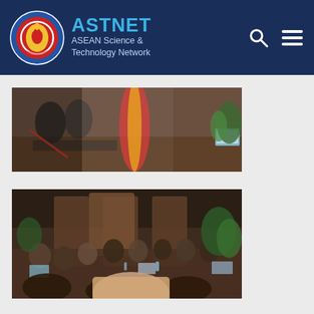ASTNET ASEAN Science & Technology Network
[Figure (photo): Conference room photo showing delegates seated at a long table with laptops, microphones, flags, and plants — a formal ASEAN meeting setting, close-up view.]
[Figure (photo): Wide-angle view of a conference room with delegates seated around a large table with laptops, decorative wooden panels, and tropical plants — an ASEAN meeting.]
[Figure (photo): Partial view of a third conference photo, cropped at the bottom of the page.]